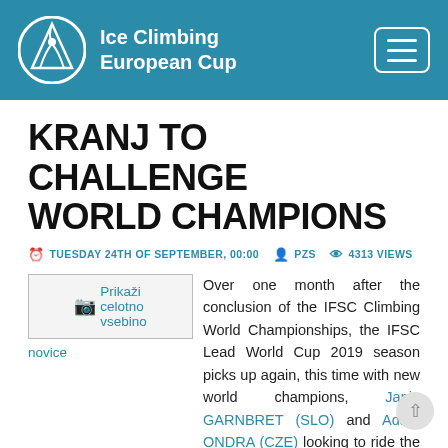Ice Climbing European Cup
KRANJ TO CHALLENGE WORLD CHAMPIONS
TUESDAY 24TH OF SEPTEMBER, 00:00   PZS   4313 VIEWS
[Figure (illustration): Prikaži celotno vsebino novice (placeholder image link)]
Over one month after the conclusion of the IFSC Climbing World Championships, the IFSC Lead World Cup 2019 season picks up again, this time with new world champions, Janja GARNBRET (SLO) and Adam ONDRA (CZE) looking to ride the momentum of their latest win to clinch another gold medal.
SHOW MORE